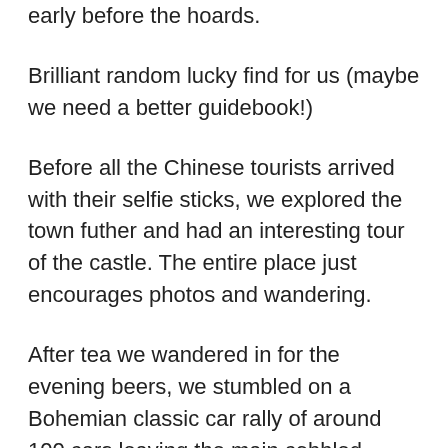early before the hoards.
Brilliant random lucky find for us (maybe we need a better guidebook!)
Before all the Chinese tourists arrived with their selfie sticks, we explored the town futher and had an interesting tour of the castle. The entire place just encourages photos and wandering.
After tea we wandered in for the evening beers, we stumbled on a Bohemian classic car rally of around 100 cars leaving the main cobbled square, some old Austins, Mercs and of course Skodas – and some taking it less seriously than others with the co-driver stopping for a beer on the way out. Great